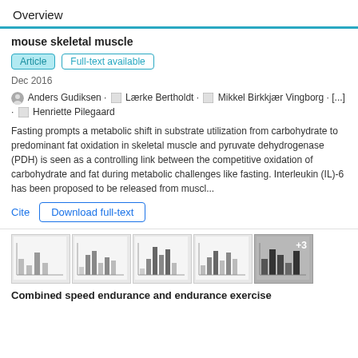Overview
mouse skeletal muscle
Article   Full-text available
Dec 2016
Anders Gudiksen · Lærke Bertholdt · Mikkel Birkkjær Vingborg · [...] · Henriette Pilegaard
Fasting prompts a metabolic shift in substrate utilization from carbohydrate to predominant fat oxidation in skeletal muscle and pyruvate dehydrogenase (PDH) is seen as a controlling link between the competitive oxidation of carbohydrate and fat during metabolic challenges like fasting. Interleukin (IL)-6 has been proposed to be released from muscl...
Cite   Download full-text
[Figure (bar-chart): Thumbnail figures from the article showing bar charts]
Combined speed endurance and endurance exercise